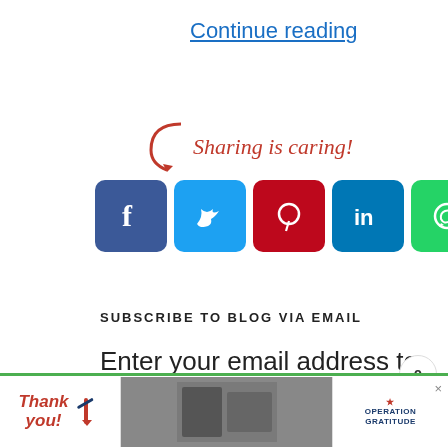Continue reading
[Figure (infographic): Sharing is caring! social media share buttons for Facebook, Twitter, Pinterest, LinkedIn, WhatsApp, and a generic share button, with a red arrow graphic]
SUBSCRIBE TO BLOG VIA EMAIL
Enter your email address to subscribe to this blog and receive notifications of
[Figure (infographic): Operation Gratitude advertisement banner with 'Thank you!' text, military personnel photo, and Operation Gratitude logo]